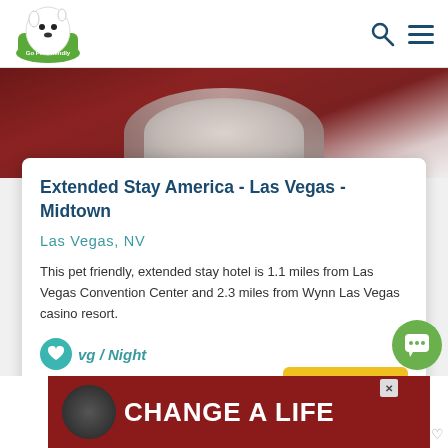[Figure (logo): GoPetFriendly logo — cartoon dog on green background with text 'Go Pet Friendly']
[Figure (photo): Partial photo of a white and dark-colored pet (dog/cat) against a dark red/maroon background, cropped at top]
Extended Stay America - Las Vegas - Midtown
Las Vegas, NV
This pet friendly, extended stay hotel is 1.1 miles from Las Vegas Convention Center and 2.3 miles from Wynn Las Vegas casino resort.
vg / Night
[Figure (screenshot): VIEW DEALS yellow button]
[Figure (screenshot): Bottom advertisement banner: dark red background with dog photo and text 'CHANGE A LIFE' in large white letters, with close X button]